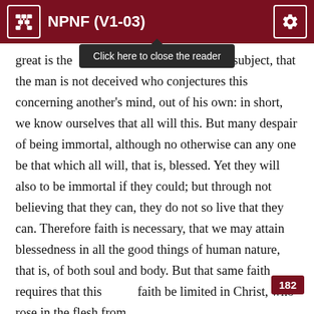NPNF (V1-03)
great is the [Click here to close the reader] e on this subject, that the man is not deceived who conjectures this concerning another’s mind, out of his own: in short, we know ourselves that all will this. But many despair of being immortal, although no otherwise can any one be that which all will, that is, blessed. Yet they will also to be immortal if they could; but through not believing that they can, they do not so live that they can. Therefore faith is necessary, that we may attain blessedness in all the good things of human nature, that is, of both soul and body. But that same faith requires that this 182 faith be limited in Christ, who rose in the flesh from